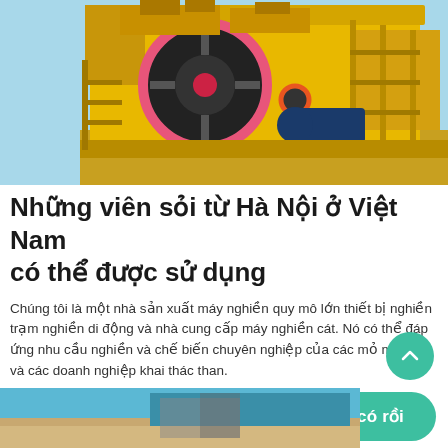[Figure (photo): Large yellow industrial rock crusher / jaw crusher machine photographed from below against a light blue sky. Machine is painted yellow with a large black and pink flywheel and orange motor visible.]
Những viên sỏi từ Hà Nội ở Việt Nam có thể được sử dụng
Chúng tôi là một nhà sản xuất máy nghiền quy mô lớn thiết bị nghiền trạm nghiền di động và nhà cung cấp máy nghiền cát. Nó có thể đáp ứng nhu cầu nghiền và chế biến chuyên nghiệp của các mỏ mỏ đá và các doanh nghiệp khai thác than.
[Figure (photo): Partial view of another industrial machine / construction site photo at the bottom of the page, showing blue sky, sandy ground, and machinery.]